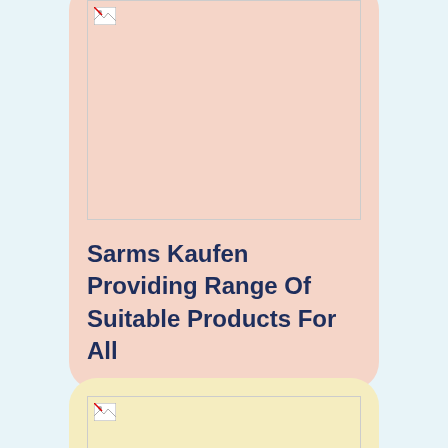[Figure (photo): Image placeholder with broken image icon, salmon/pink background]
Sarms Kaufen Providing Range Of Suitable Products For All
[Figure (photo): Image placeholder with broken image icon, light yellow background]